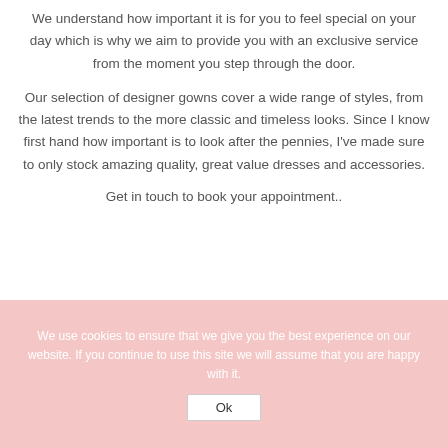We understand how important it is for you to feel special on your day which is why we aim to provide you with an exclusive service from the moment you step through the door.
Our selection of designer gowns cover a wide range of styles, from the latest trends to the more classic and timeless looks. Since I know first hand how important is to look after the pennies, I've made sure to only stock amazing quality, great value dresses and accessories.
Get in touch to book your appointment..
We use cookies to ensure that we give you the best experience on our website. If you continue to use this site we will assume that you are happy with it.